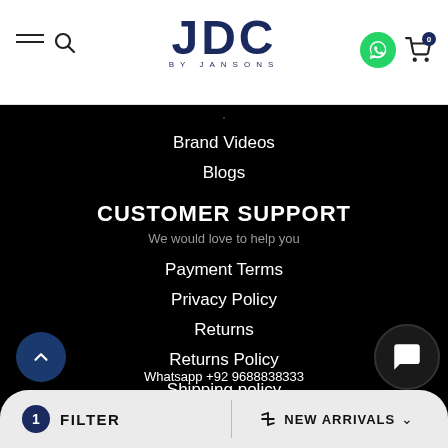[Figure (logo): JDC BY JANSONS logo in dark navy blue]
Brand Videos
Blogs
CUSTOMER SUPPORT
We would love to help you
Payment Terms
Privacy Policy
Returns
Returns Policy
Shipping policy
Terms of service
GET IN TOUCH
Feel free to contact us
Whatsapp +92 9688838333